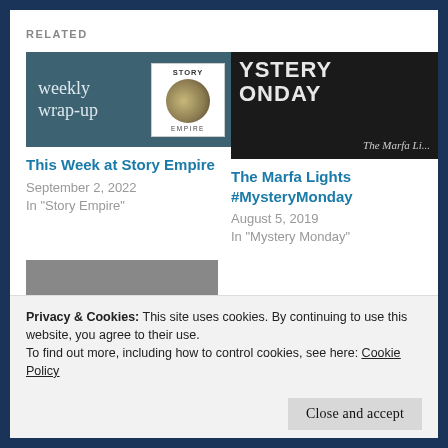RELATED
[Figure (photo): Weekly Wrap-up thumbnail with moon and Story Empire badge]
This Week at Story Empire
September 2, 2022
In "Story Empire"
[Figure (photo): Mystery Monday dark background thumbnail with 'The Marfa Li...' subtitle]
The Marfa Lights #MysteryMonday
August 5, 2019
In "Mystery Monday"
[Figure (photo): Mystery Monday gray background thumbnail]
Privacy & Cookies: This site uses cookies. By continuing to use this website, you agree to their use.
To find out more, including how to control cookies, see here: Cookie Policy